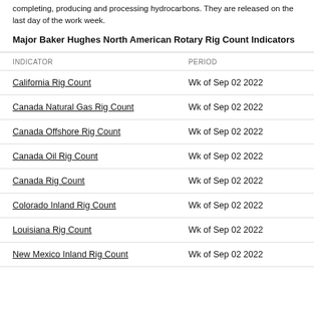completing, producing and processing hydrocarbons. They are released on the last day of the work week.
Major Baker Hughes North American Rotary Rig Count Indicators
| INDICATOR | PERIOD |
| --- | --- |
| California Rig Count | Wk of Sep 02 2022 |
| Canada Natural Gas Rig Count | Wk of Sep 02 2022 |
| Canada Offshore Rig Count | Wk of Sep 02 2022 |
| Canada Oil Rig Count | Wk of Sep 02 2022 |
| Canada Rig Count | Wk of Sep 02 2022 |
| Colorado Inland Rig Count | Wk of Sep 02 2022 |
| Louisiana Rig Count | Wk of Sep 02 2022 |
| New Mexico Inland Rig Count | Wk of Sep 02 2022 |